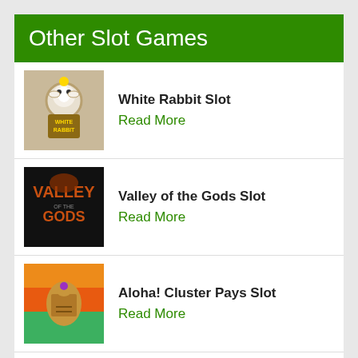Other Slot Games
White Rabbit Slot
Read More
Valley of the Gods Slot
Read More
Aloha! Cluster Pays Slot
Read More
Asgard Slot